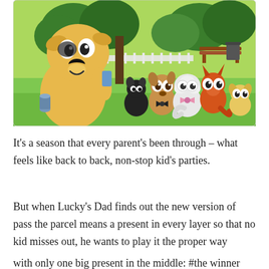[Figure (illustration): Animated cartoon scene from Bluey showing a large yellow dog character (Lucky's Dad) holding a blue phone, standing in a park with green grass and trees. Around him are several small puppy characters: a black puppy, a brown puppy, a white fluffy puppy, an orange/red puppy, and a small yellow puppy. There is a blue cylindrical object on the ground. The background shows a park setting with a white fence and benches.]
It's a season that every parent's been through – what feels like back to back, non-stop kid's parties.
But when Lucky's Dad finds out the new version of pass the parcel means a present in every layer so that no kid misses out, he wants to play it the proper way with only one big present in the middle: #the winner